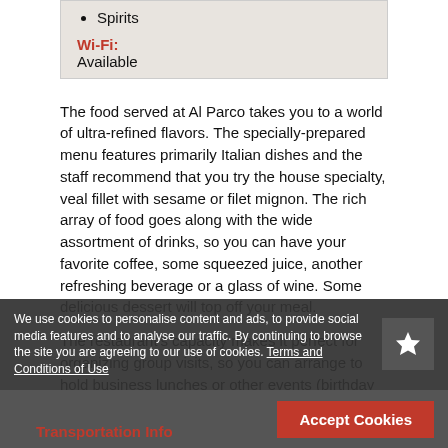Spirits
Wi-Fi:
Available
The food served at Al Parco takes you to a world of ultra-refined flavors. The specially-prepared menu features primarily Italian dishes and the staff recommend that you try the house specialty, veal fillet with sesame or filet mignon. The rich array of food goes along with the wide assortment of drinks, so you can have your favorite coffee, some squeezed juice, another refreshing beverage or a glass of wine. Some delicious dessert will top off your meal.
The restaurant's capacity makes it perfect for organizing group visits, so you can arrange to hold business lunches or other events (birthday parties, celebrations, wedding receptions) that are sure to remain etched in your memory.
Al Parco is located in East Sarajevo, near the largest park in town, allowing guests to enjoy not only the rich offering and professional services, but also some quiet moments with plenty of peace and quiet and enjoyment.
We use cookies to personalise content and ads, to provide social media features and to analyse our traffic. By continuing to browse the site you are agreeing to our use of cookies. Terms and Conditions of Use
Accept Cookies
Transportation Info